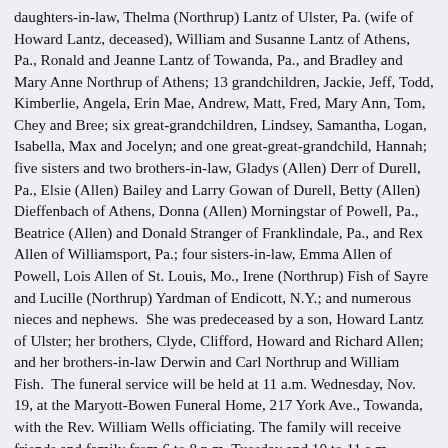daughters-in-law, Thelma (Northrup) Lantz of Ulster, Pa. (wife of Howard Lantz, deceased), William and Susanne Lantz of Athens, Pa., Ronald and Jeanne Lantz of Towanda, Pa., and Bradley and Mary Anne Northrup of Athens; 13 grandchildren, Jackie, Jeff, Todd, Kimberlie, Angela, Erin Mae, Andrew, Matt, Fred, Mary Ann, Tom, Chey and Bree; six great-grandchildren, Lindsey, Samantha, Logan, Isabella, Max and Jocelyn; and one great-great-grandchild, Hannah; five sisters and two brothers-in-law, Gladys (Allen) Derr of Durell, Pa., Elsie (Allen) Bailey and Larry Gowan of Durell, Betty (Allen) Dieffenbach of Athens, Donna (Allen) Morningstar of Powell, Pa., Beatrice (Allen) and Donald Stranger of Franklindale, Pa., and Rex Allen of Williamsport, Pa.; four sisters-in-law, Emma Allen of Powell, Lois Allen of St. Louis, Mo., Irene (Northrup) Fish of Sayre and Lucille (Northrup) Yardman of Endicott, N.Y.; and numerous nieces and nephews.  She was predeceased by a son, Howard Lantz of Ulster; her brothers, Clyde, Clifford, Howard and Richard Allen; and her brothers-in-law Derwin and Carl Northrup and William Fish.  The funeral service will be held at 11 a.m. Wednesday, Nov. 19, at the Maryott-Bowen Funeral Home, 217 York Ave., Towanda, with the Rev. William Wells officiating. The family will receive friends and family from 6 to 8 p.m. Tuesday and 10 to 11 a.m. Wednesday at the funeral home. Interment will follow in the Tioga Point Cemetery, Athens. The family would like to express sincere thanks to her caring physician, Dr. Debra Ryan, the cardiology staff, and the nurses and staff of the medical floor at the Robert Packer Hospital in Sayre.